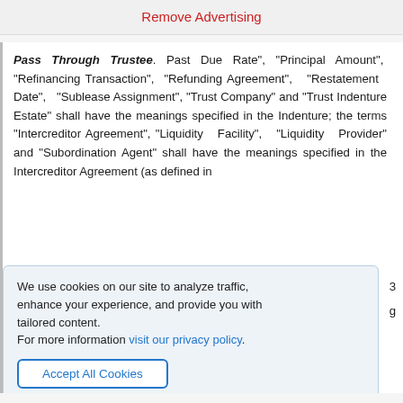Remove Advertising
Pass Through Trustee. Past Due Rate", "Principal Amount", "Refinancing Transaction", "Refunding Agreement", "Restatement Date", "Sublease Assignment", "Trust Company" and "Trust Indenture Estate" shall have the meanings specified in the Indenture; the terms "Intercreditor Agreement", "Liquidity Facility", "Liquidity Provider" and "Subordination Agent" shall have the meanings specified in the Intercreditor Agreement (as defined in
We use cookies on our site to analyze traffic, enhance your experience, and provide you with tailored content.
For more information visit our privacy policy.

Accept All Cookies